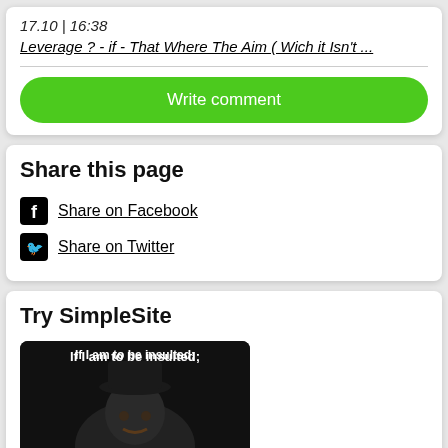17.10 | 16:38
Leverage ? - if - That Where The Aim ( Wich it Isn't ...
Write comment
Share this page
Share on Facebook
Share on Twitter
Try SimpleSite
[Figure (photo): Meme image with text 'If I am to be insulted;' and a man with a mustache on dark background]